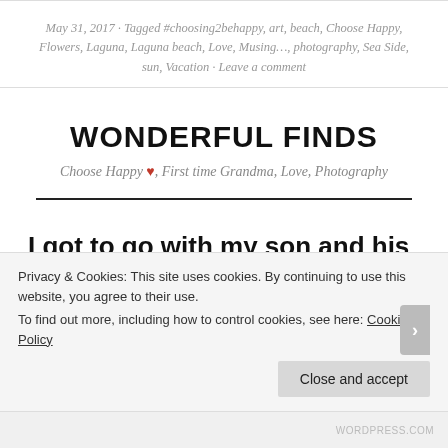May 31, 2017 · Tagged #choosing2behappy, art, beach, Choose Happy, Flowers, Laguna, Laguna beach, Love, Musing…, photography, Sea Side, sun, Vacation · Leave a comment
WONDERFUL FINDS
Choose Happy ♥, First time Grandma, Love, Photography
I got to go with my son and his little family to the f…
Privacy & Cookies: This site uses cookies. By continuing to use this website, you agree to their use. To find out more, including how to control cookies, see here: Cookie Policy
WORDPRESS.COM